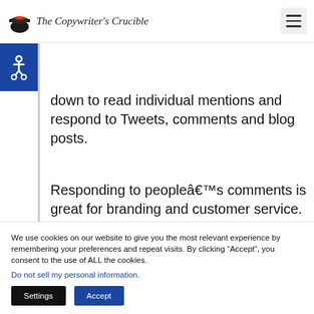The Copywriter's Crucible
down to read individual mentions and respond to Tweets, comments and blog posts.
Responding to peopleâ€™s comments is great for branding and customer service. But it can also be used to get feedback on your brand or productâ€™s
We use cookies on our website to give you the most relevant experience by remembering your preferences and repeat visits. By clicking “Accept”, you consent to the use of ALL the cookies.
Do not sell my personal information.